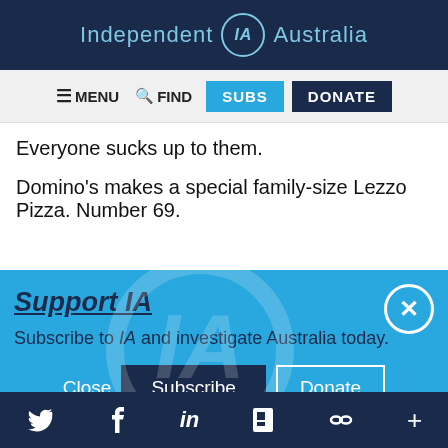Independent IA Australia
≡ MENU  🔍 FIND  SUBS  DONATE
Everyone sucks up to them.
Domino's makes a special family-size Lezzo Pizza. Number 69.
Support IA
Subscribe to IA and investigate Australia today.
Close  Subscribe  Donate
Twitter  Facebook  LinkedIn  Flipboard  Link  Plus